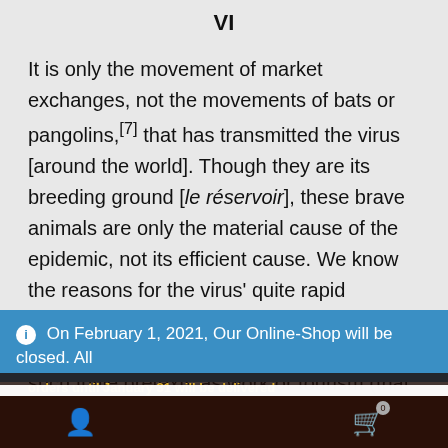VI
It is only the movement of market exchanges, not the movements of bats or pangolins,[7] that has transmitted the virus [around the world]. Though they are its breeding ground [le réservoir], these brave animals are only the material cause of the epidemic, not its efficient cause. We know the reasons for the virus' quite rapid propagation: countless flights of people by airplane, almost always undertaken under such futile pretexts as work or tourism (that lugubrious inversion of the journey). And then the
ⓘ On February 1, 2021, Our Online-Shop will be closed. All
orders until January 31 will be delivered
Dismiss
We use cookies to ensure that we give you the best experience on our website. If you continue to use this site we will assume that you are happy with it.
Ok